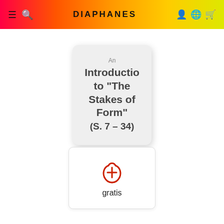DIAPHANES
[Figure (illustration): Book cover thumbnail showing partial text: An Introduction to 'The Stakes of Form' (S. 7 – 34)]
[Figure (other): PDF download button with Adobe Acrobat icon and label 'gratis']